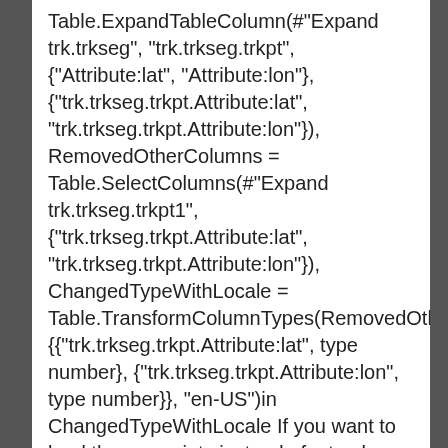Table.ExpandTableColumn(#"Expand trk.trkseg", "trk.trkseg.trkpt", {"Attribute:lat", "Attribute:lon"}, {"trk.trkseg.trkpt.Attribute:lat", "trk.trkseg.trkpt.Attribute:lon"}), RemovedOtherColumns = Table.SelectColumns(#"Expand trk.trkseg.trkpt1",{"trk.trkseg.trkpt.Attribute:lat", "trk.trkseg.trkpt.Attribute:lon"}), ChangedTypeWithLocale = Table.TransformColumnTypes(RemovedOtherColumns, {{"trk.trkseg.trkpt.Attribute:lat", type number}, {"trk.trkseg.trkpt.Attribute:lon", type number}}, "en-US")in ChangedTypeWithLocale If you want to load the waypoints instead of a track, you can repeat the same steps, except using this script: let Source = Xml.Tables(Web.Contents("http://www.topografix.com ChangedType =